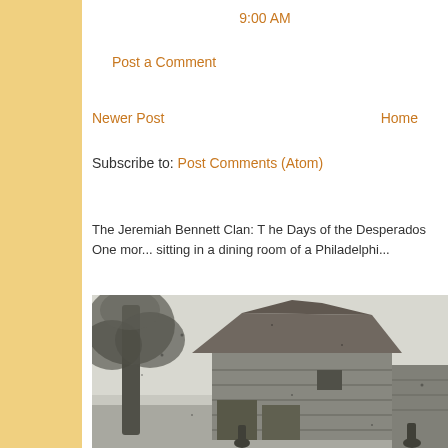9:00 AM
Post a Comment
Newer Post
Home
Subscribe to: Post Comments (Atom)
The Jeremiah Bennett Clan: T he Days of the Desperados One mor... sitting in a dining room of a Philadelphi...
[Figure (photo): Old black and white photograph of a wooden barn or old building with a large tree to the left, historic rural scene]